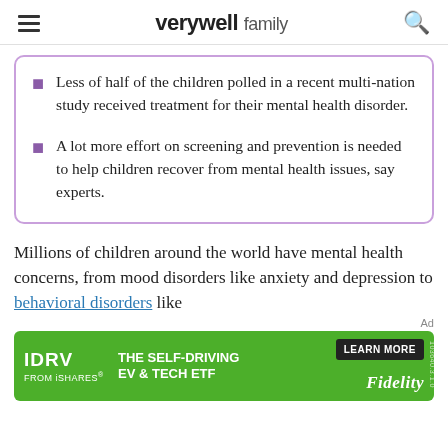verywell family
Less of half of the children polled in a recent multi-nation study received treatment for their mental health disorder.
A lot more effort on screening and prevention is needed to help children recover from mental health issues, say experts.
Millions of children around the world have mental health concerns, from mood disorders like anxiety and depression to behavioral disorders like
[Figure (other): Advertisement banner for IDRV from iShares - The Self-Driving EV & Tech ETF by Fidelity with a Learn More button, green background]